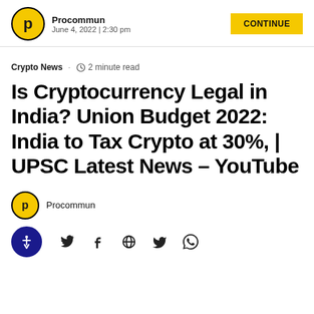Procommun June 4, 2022 | 2:30 pm
Crypto News · 2 minute read
Is Cryptocurrency Legal in India? Union Budget 2022: India to Tax Crypto at 30%, | UPSC Latest News – YouTube
Procommun